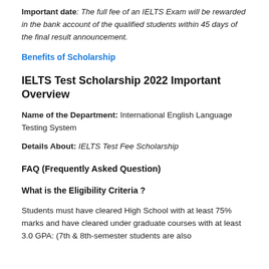Important date: The full fee of an IELTS Exam will be rewarded in the bank account of the qualified students within 45 days of the final result announcement.
Benefits of Scholarship
IELTS Test Scholarship 2022 Important Overview
Name of the Department: International English Language Testing System
Details About: IELTS Test Fee Scholarship
FAQ (Frequently Asked Question)
What is the Eligibility Criteria ?
Students must have cleared High School with at least 75% marks and have cleared under graduate courses with at least 3.0 GPA: (7th & 8th-semester students are also